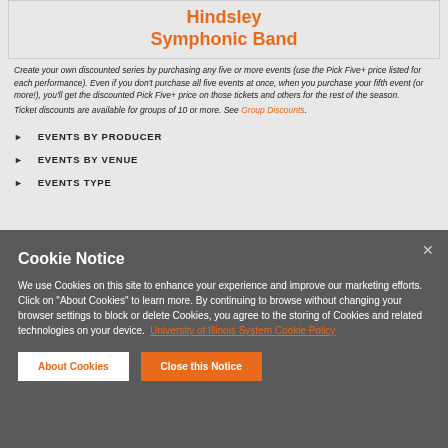Hindsley Symphonic Band
Create your own discounted series by purchasing any five or more events (use the Pick Five+ price listed for each performance). Even if you don't purchase all five events at once, when you purchase your fifth event (or more!), you'll get the discounted Pick Five+ price on those tickets and others for the rest of the season.
Ticket discounts are available for groups of 10 or more. See Group Discounts.
EVENTS BY PRODUCER
EVENTS BY VENUE
EVENTS TYPE
Cookie Notice
We use Cookies on this site to enhance your experience and improve our marketing efforts. Click on "About Cookies" to learn more. By continuing to browse without changing your browser settings to block or delete Cookies, you agree to the storing of Cookies and related technologies on your device. University of Illinois System Cookie Policy
About Cookies
Close this Notice